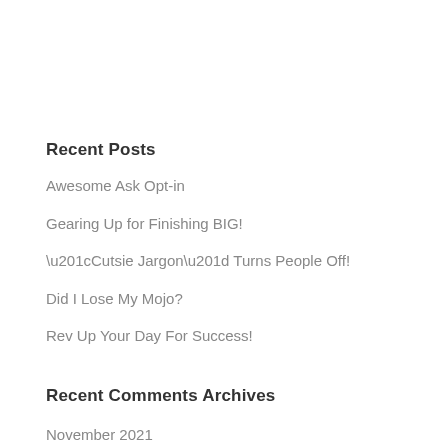Recent Posts
Awesome Ask Opt-in
Gearing Up for Finishing BIG!
“Cutsie Jargon” Turns People Off!
Did I Lose My Mojo?
Rev Up Your Day For Success!
Recent Comments
Archives
November 2021